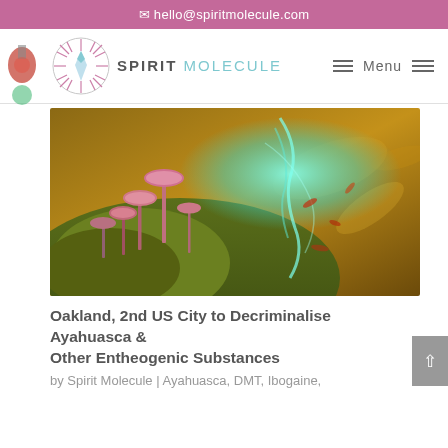hello@spiritmolecule.com
[Figure (logo): Spirit Molecule website header with logo showing a circular emblem with radial lines and a central crystal/tower shape, with text SPIRIT MOLECULE and navigation menu]
[Figure (photo): Fantastical nature photo showing pink/red mushrooms growing on a mossy mound, with a glowing teal/turquoise ethereal face or pattern in the upper right and warm golden bokeh background]
Oakland, 2nd US City to Decriminalise Ayahuasca & Other Entheogenic Substances
by Spirit Molecule | Ayahuasca, DMT, Ibogaine,